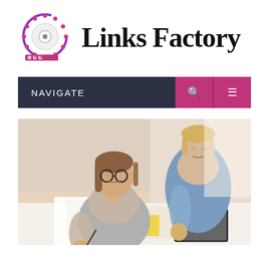[Figure (logo): Links Factory logo: circular reel/spool icon in purple and pink with dots, next to bold serif text 'Links Factory']
NAVIGATE
[Figure (photo): Two young women collaborating over documents and a tablet on a white desk in a bright office setting. One woman wears glasses and a grey sleeveless top, the other a blue shirt.]